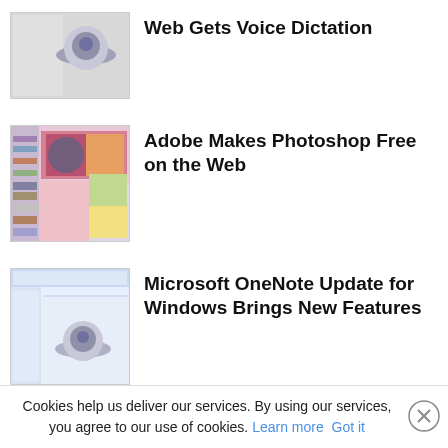[Figure (screenshot): Thumbnail image of a device with a disc-like object on a gray/white background]
Web Gets Voice Dictation
[Figure (screenshot): Thumbnail of Adobe Photoshop interface showing colorful design elements]
Adobe Makes Photoshop Free on the Web
[Figure (screenshot): Thumbnail of Microsoft OneNote window with a device showing a disc object]
Microsoft OneNote Update for Windows Brings New Features
< >
ALSO ON WINBUZZER
[Figure (screenshot): Thumbnail with purple/blue header and Windows logo]
[Figure (screenshot): Thumbnail with blue header and Windows Update text]
Cookies help us deliver our services. By using our services, you agree to our use of cookies. Learn more  Got it